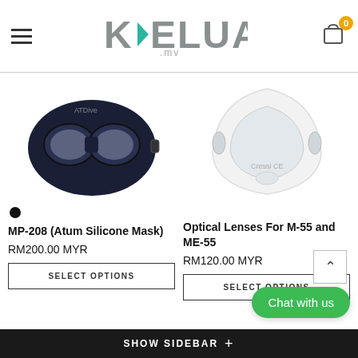KELUAR .my
[Figure (photo): Dark navy blue silicone diving mask (MP-208 Atum Silicone Mask) viewed from front]
[Figure (photo): White triangular optical lens frame for M-55 and ME-55 diving masks, with CE marking]
MP-208 (Atum Silicone Mask)
RM200.00 MYR
SELECT OPTIONS
Optical Lenses For M-55 and ME-55
RM120.00 MYR
SELECT OPTIONS
SHOW SIDEBAR +